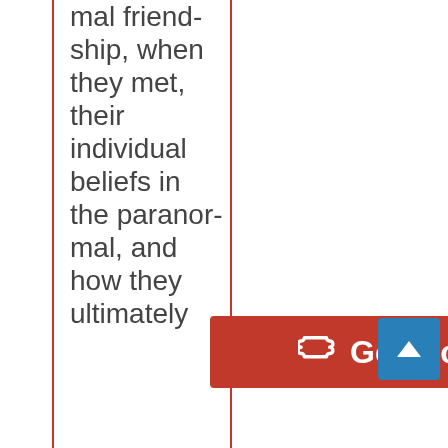mal friendship, when they met, their individual beliefs in the paranormal, and how they ultimately
[Figure (other): Red 'Get Tickets' button with ticket icon, and a blue scroll-to-top arrow button]